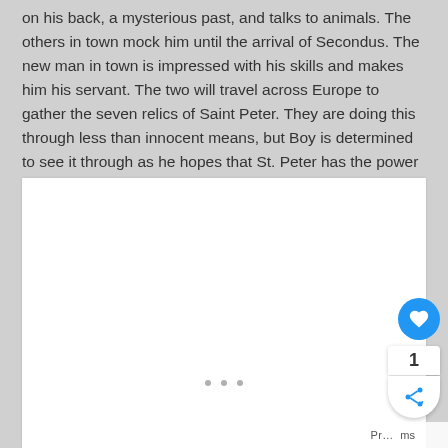on his back, a mysterious past, and talks to animals. The others in town mock him until the arrival of Secondus. The new man in town is impressed with his skills and makes him his servant. The two will travel across Europe to gather the seven relics of Saint Peter. They are doing this through less than innocent means, but Boy is determined to see it through as he hopes that St. Peter has the power to make him like other boys.
[Figure (other): White content area (image loading placeholder) with three small grey dots at the bottom center indicating loading or pagination. Overlaid UI controls including a blue heart/favorite button, a counter showing '1', and a share button.]